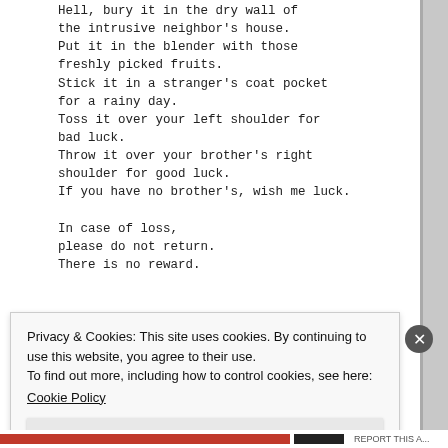Hell, bury it in the dry wall of
the intrusive neighbor's house.
Put it in the blender with those
freshly picked fruits.
Stick it in a stranger's coat pocket
for a rainy day.
Toss it over your left shoulder for
bad luck.
Throw it over your brother's right
shoulder for good luck.
If you have no brother's, wish me luck.

In case of loss,
please do not return.
There is no reward.
Privacy & Cookies: This site uses cookies. By continuing to use this website, you agree to their use.
To find out more, including how to control cookies, see here:
Cookie Policy
Close and accept